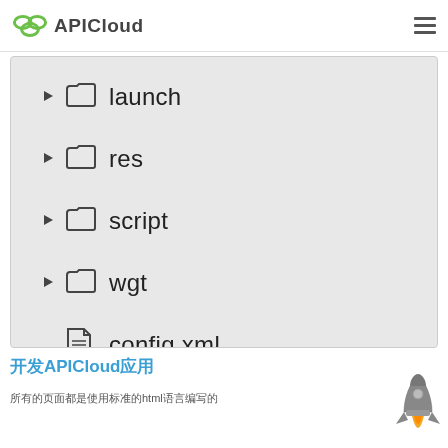APICloud
[Figure (screenshot): File tree showing folders: launch, res, script, wgt and files: config.xml, index.html in a grey panel]
开发APICloud应用
所有的页面都是使用标准的html语言编写的